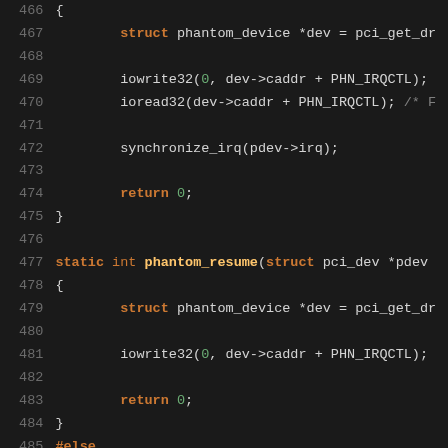[Figure (screenshot): Source code screenshot showing C kernel driver code with syntax highlighting on dark background. Lines 466-495 showing phantom device suspend/resume functions and PCI device ID table definition.]